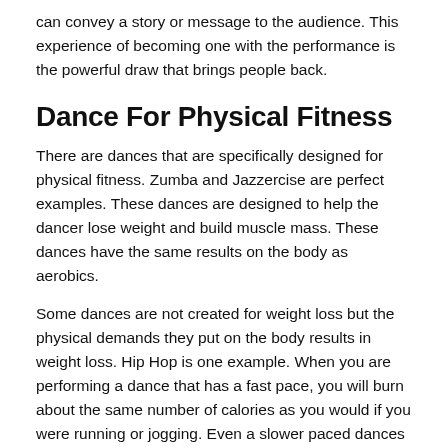can convey a story or message to the audience. This experience of becoming one with the performance is the powerful draw that brings people back.
Dance For Physical Fitness
There are dances that are specifically designed for physical fitness. Zumba and Jazzercise are perfect examples. These dances are designed to help the dancer lose weight and build muscle mass. These dances have the same results on the body as aerobics.
Some dances are not created for weight loss but the physical demands they put on the body results in weight loss. Hip Hop is one example. When you are performing a dance that has a fast pace, you will burn about the same number of calories as you would if you were running or jogging. Even a slower paced dances can burn a lot of calories if they carry a heavy intensity. Of course, weight loss